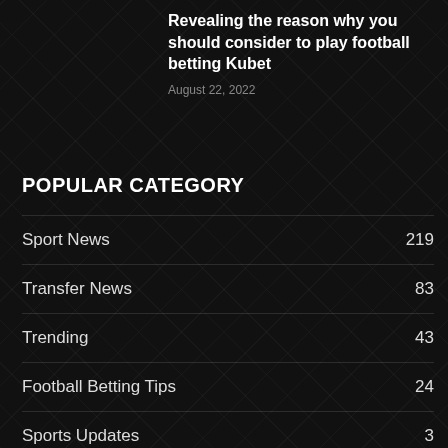Revealing the reason why you should consider to play football betting Kubet
August 22, 2022
POPULAR CATEGORY
Sport News  219
Transfer News  83
Trending  43
Football Betting Tips  24
Sports Updates  3
Lifestyles  3
Football League Tables  0